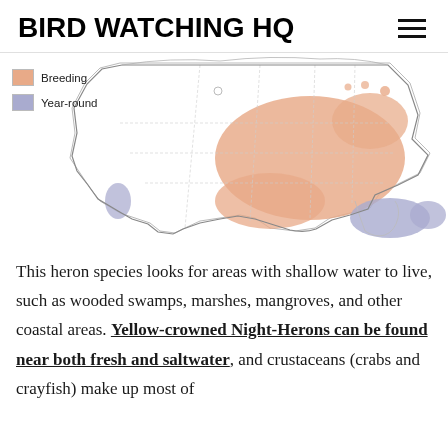BIRD WATCHING HQ
[Figure (map): Range map of the Yellow-crowned Night-Heron over the United States. Legend shows two colors: Breeding (salmon/orange) covering the southeastern US and parts of coastal and interior east, and Year-round (blue/purple) covering southern Florida/Caribbean coastal areas and small California coastal patches.]
This heron species looks for areas with shallow water to live, such as wooded swamps, marshes, mangroves, and other coastal areas. Yellow-crowned Night-Herons can be found near both fresh and saltwater, and crustaceans (crabs and crayfish) make up most of